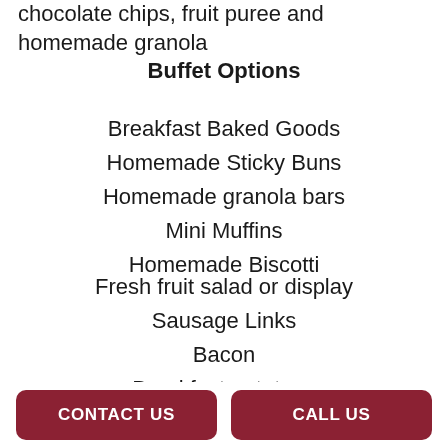chocolate chips, fruit puree and homemade granola
Buffet Options
Breakfast Baked Goods
Homemade Sticky Buns
Homemade granola bars
Mini Muffins
Homemade Biscotti
Fresh fruit salad or display
Sausage Links
Bacon
Breakfast potatoes
French toast bake
CONTACT US
CALL US